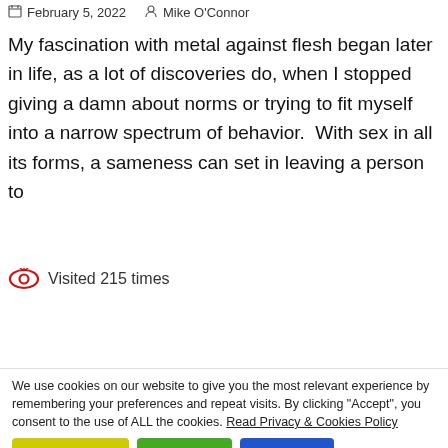February 5, 2022   Mike O'Connor
My fascination with metal against flesh began later in life, as a lot of discoveries do, when I stopped giving a damn about norms or trying to fit myself into a narrow spectrum of behavior.  With sex in all its forms, a sameness can set in leaving a person to
Visited 215 times
Read More
We use cookies on our website to give you the most relevant experience by remembering your preferences and repeat visits. By clicking "Accept", you consent to the use of ALL the cookies. Read Privacy & Cookies Policy
Cookie settings   ACCEPT   REJECT